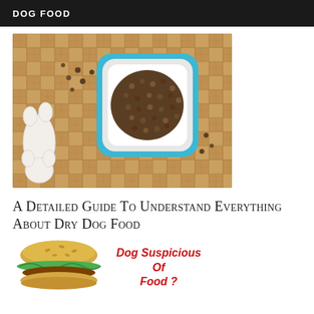DOG FOOD
[Figure (photo): Top-down photo of a blue and white dog bowl filled with dry kibble on a parquet wood floor, with dog paws visible on the left side and some scattered kibble pieces]
A Detailed Guide To Understand Everything About Dry Dog Food
[Figure (illustration): Cartoon illustration of a hamburger/burger on the left, with red italic text on the right reading 'Dog Suspicious Of Food ?']